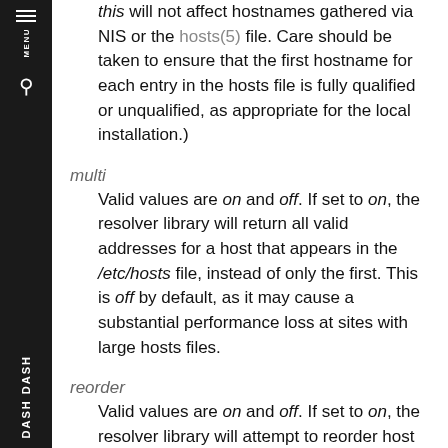this will not affect hostnames gathered via NIS or the hosts(5) file. Care should be taken to ensure that the first hostname for each entry in the hosts file is fully qualified or unqualified, as appropriate for the local installation.)
multi
Valid values are on and off. If set to on, the resolver library will return all valid addresses for a host that appears in the /etc/hosts file, instead of only the first. This is off by default, as it may cause a substantial performance loss at sites with large hosts files.
reorder
Valid values are on and off. If set to on, the resolver library will attempt to reorder host addresses so that local addresses (i.e., on